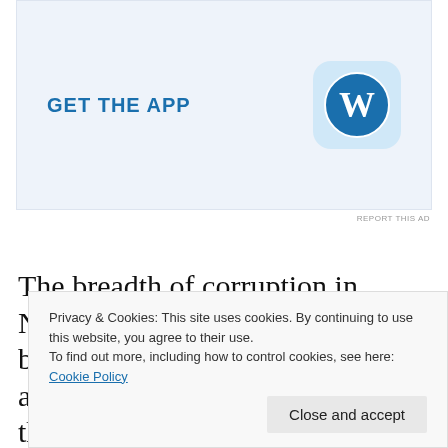[Figure (logo): WordPress 'GET THE APP' advertisement banner with WordPress logo icon on light blue background]
REPORT THIS AD
The breadth of corruption in Nigeria is hard to describe.  It's beyond comprehension how vast and ingrained the evil is within the state and business community.  Generally people want to believe that folks will do the right thing.  How
Privacy & Cookies: This site uses cookies. By continuing to use this website, you agree to their use.
To find out more, including how to control cookies, see here: Cookie Policy
Close and accept